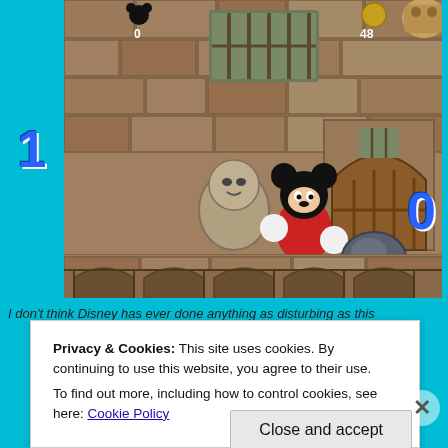[Figure (screenshot): A screenshot of a retro video game (Mickey Mouse castle platformer) showing Mickey Mouse fighting a stone golem enemy in a stone castle environment. HUD shows score 0 and 48 coins. Cyan borders surround the screenshot with large blue numbers '1' on the left and '0' on the right.]
I don't think Disney has ever done anything as disturbing as this
Privacy & Cookies: This site uses cookies. By continuing to use this website, you agree to their use.
To find out more, including how to control cookies, see here: Cookie Policy